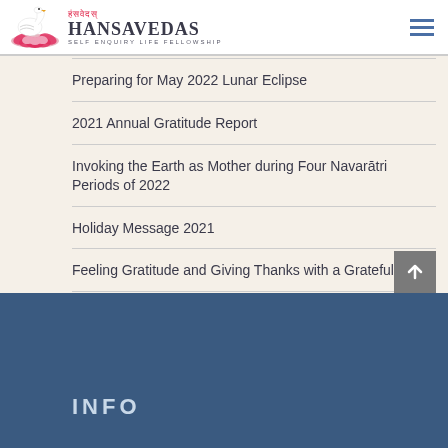Hansavedas — Self Enquiry Life Fellowship
Preparing for May 2022 Lunar Eclipse
2021 Annual Gratitude Report
Invoking the Earth as Mother during Four Navarātri Periods of 2022
Holiday Message 2021
Feeling Gratitude and Giving Thanks with a Grateful Heart
INFO